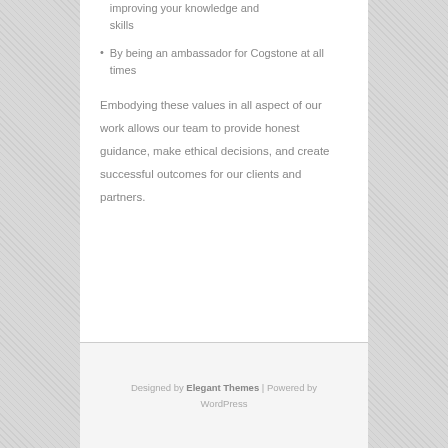improving your knowledge and skills
By being an ambassador for Cogstone at all times
Embodying these values in all aspect of our work allows our team to provide honest guidance, make ethical decisions, and create successful outcomes for our clients and partners.
Designed by Elegant Themes | Powered by WordPress